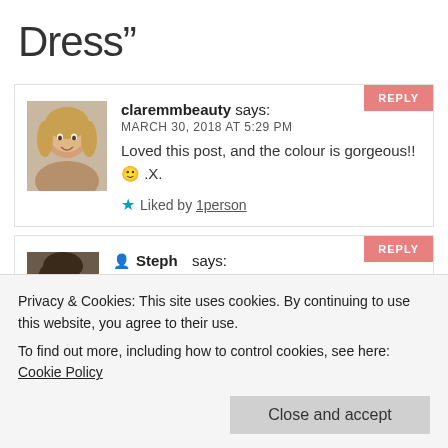Dress”
claremmbeauty says: MARCH 30, 2018 AT 5:29 PM
Loved this post, and the colour is gorgeous!! 🙂 .X.
Liked by 1person
[Figure (photo): Avatar photo of claremmbeauty user]
Steph says:
[Figure (photo): Avatar photo of Steph user]
Privacy & Cookies: This site uses cookies. By continuing to use this website, you agree to their use.
To find out more, including how to control cookies, see here: Cookie Policy
Close and accept